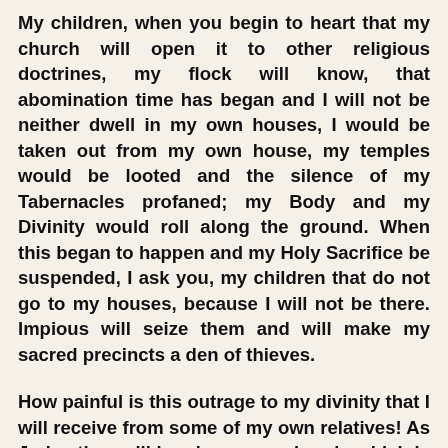My children, when you begin to heart that my church will open it to other religious doctrines, my flock will know, that abomination time has began and I will not be neither dwell in my own houses, I would be taken out from my own house, my temples would be looted and the silence of my Tabernacles profaned; my Body and my Divinity would roll along the ground. When this began to happen and my Holy Sacrifice be suspended, I ask you, my children that do not go to my houses, because I will not be there. Impious will seize them and will make my sacred precincts a den of thieves.
How painful is this outrage to my divinity that I will receive from some of my own relatives! As Judas they will hand over my church, which is Me, to my adversary's hands. The new church that want to implement, would belong to my adversary; contraries religious and doctrines and pagans' gods would occupy my houses where I dwelt and I was giving myself as a food